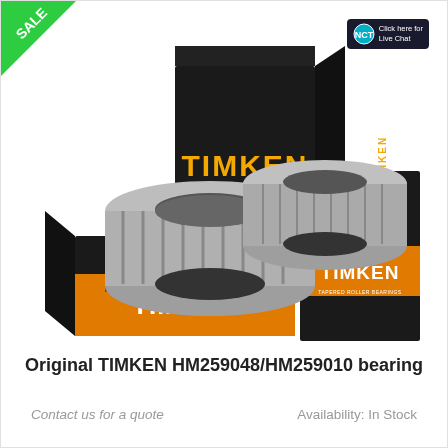[Figure (photo): Two TIMKEN tapered roller bearings (metallic rings) arranged in front of three black TIMKEN branded boxes with yellow lettering. The boxes are labeled TIMKEN and TAPERED ROLLER BEARINGS. A green SALE triangle badge is in the top-left corner. A small live chat button is in the top-right.]
Original TIMKEN HM259048/HM259010 bearing
Contact us for a quote
Availability: In Stock